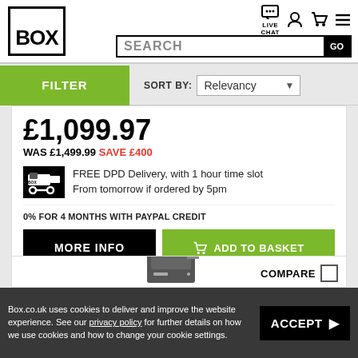[Figure (logo): BOX logo in black square border]
LIVE CHAT | account icon | cart icon | menu icon | SEARCH bar with GO button
FILTER
SORT BY: Relevancy
£1,099.97
WAS £1,499.99 SAVE £400
FREE DPD Delivery, with 1 hour time slot
From tomorrow if ordered by 5pm
0% FOR 4 MONTHS WITH PAYPAL CREDIT
MORE INFO
ADD TO BASKET
COMPARE
[Figure (photo): Partial view of a dark computer tower/desktop PC product]
Box.co.uk uses cookies to deliver and improve the website experience. See our privacy policy for further details on how we use cookies and how to change your cookie settings.
ACCEPT